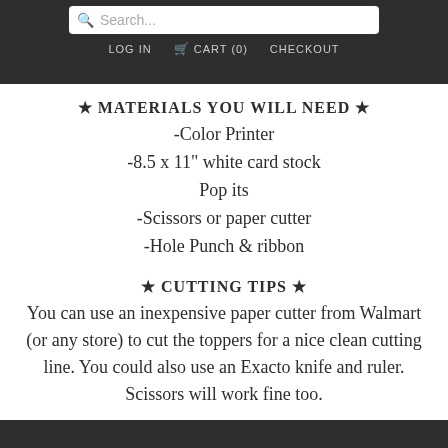Search... LOG IN CART (0) CHECKOUT
★ MATERIALS YOU WILL NEED ★
-Color Printer
-8.5 x 11" white card stock
Pop its
-Scissors or paper cutter
-Hole Punch & ribbon
★ CUTTING TIPS ★
You can use an inexpensive paper cutter from Walmart (or any store) to cut the toppers for a nice clean cutting line. You could also use an Exacto knife and ruler. Scissors will work fine too.
★ APPLYING THE TOPPER ★